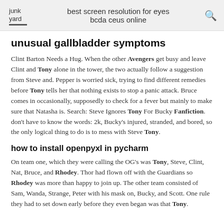junk yard | best screen resolution for eyes bcda ceus online
unusual gallbladder symptoms
Clint Barton Needs a Hug. When the other Avengers get busy and leave Clint and Tony alone in the tower, the two actually follow a suggestion from Steve and. Pepper is worried sick, trying to find different remedies before Tony tells her that nothing exists to stop a panic attack. Bruce comes in occasionally, supposedly to check for a fever but mainly to make sure that Natasha is. Search: Steve Ignores Tony For Bucky Fanfiction. don't have to know the words: 2k, Bucky's injured, stranded, and bored, so the only logical thing to do is to mess with Steve Tony.
how to install openpyxl in pycharm
On team one, which they were calling the OG's was Tony, Steve, Clint, Nat, Bruce, and Rhodey. Thor had flown off with the Guardians so Rhodey was more than happy to join up. The other team consisted of Sam, Wanda, Strange, Peter with his mask on, Bucky, and Scott. One rule they had to set down early before they even began was that Tony.